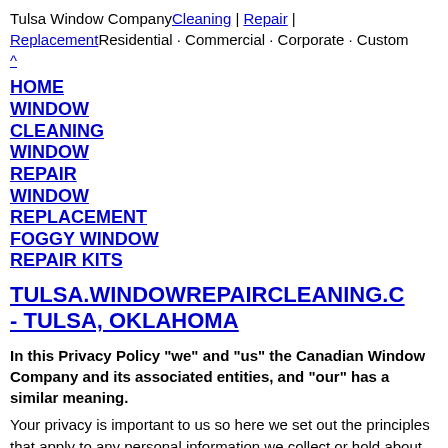Tulsa Window Company Cleaning | Repair | Replacement Residential · Commercial · Corporate · Custom ^
HOME
WINDOW CLEANING
WINDOW REPAIR
WINDOW REPLACEMENT
FOGGY WINDOW REPAIR KITS
TULSA.WINDOWREPAIRCLEANING.C - TULSA, OKLAHOMA
In this Privacy Policy "we" and "us" the Canadian Window Company and its associated entities, and "our" has a similar meaning.
Your privacy is important to us so here we set out the principles that apply to any personal information we collect or hold about you, including information you provide to us and information which we collect from other sources. We do NOT allow direct...